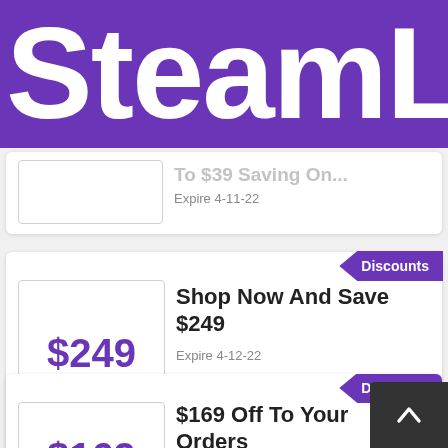SteamLo
Expire 4-11-22
[Figure (other): Discounts badge]
$249 OFF
Shop Now And Save $249
Expire 4-12-22
[Figure (other): Discounts badge (partially visible)]
$169 OFF
$169 Off To Your Orders
Expire 4-11-22